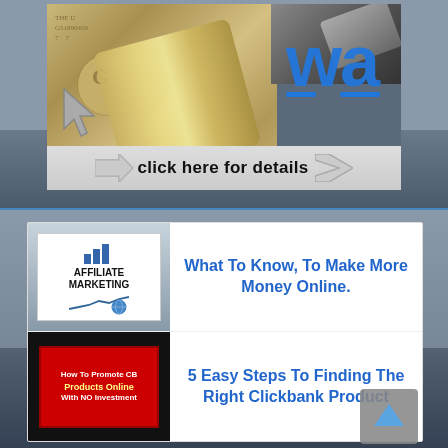[Figure (photo): Banner advertisement showing rolled US dollar bills with a gavel, Wealthy Affiliate (WA) logo in blue, cursor arrow icon, and a 'click here for details' call-to-action bar with arrow]
[Figure (photo): Thumbnail image of Affiliate Marketing book/poster with bar chart icon and title 'AFFILIATE MARKETING']
What To Know, To Make More Money Online.
[Figure (photo): Thumbnail image of 'How To Promote CB Products Online With NO Investment' book cover with red background]
5 Easy Steps To Finding The Right Clickbank Product